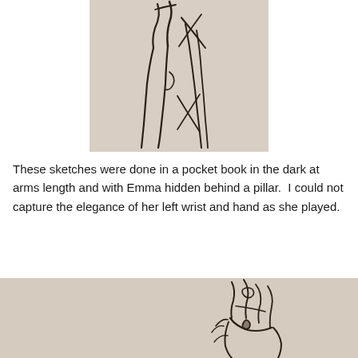[Figure (illustration): A loose ink sketch on beige/tan paper showing an arm and hand raised, with crossed fingers or a wrist/hand gesture, drawn in dark ink with gestural strokes.]
These sketches were done in a pocket book in the dark at arms length and with Emma hidden behind a pillar.  I could not capture the elegance of her left wrist and hand as she played.
[Figure (illustration): A loose ink sketch on beige/tan paper showing hands and fingers in a playing position, drawn with gestural dark ink strokes, partially cropped at the bottom of the page.]